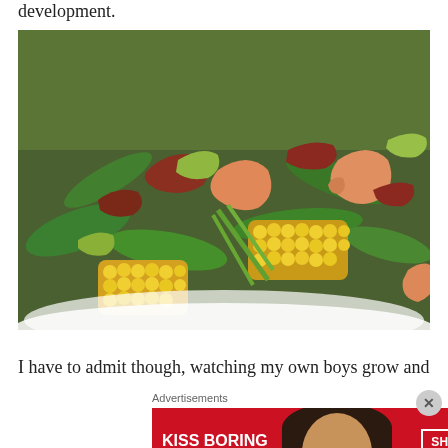development.
[Figure (photo): A large white bowl filled with a shrimp salad containing corn, spinach, avocado, and bacon pieces, photographed close-up from above.]
I have to admit though, watching my own boys grow and
Advertisements
[Figure (other): Advertisement banner with red background. Text reads 'KISS BORING LIPS GOODBYE' on the left, a woman's face with red lips in center, and 'SHOP NOW' button with 'macy's' logo on the right.]